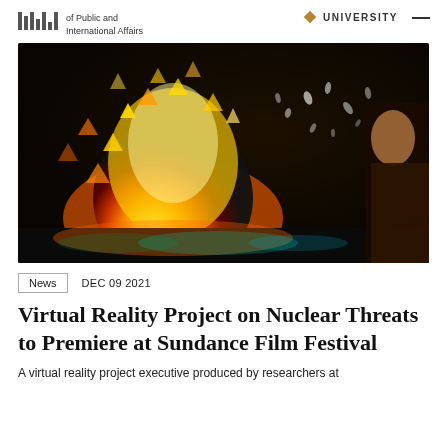of Public and International Affairs | UNIVERSITY
[Figure (photo): Colorful abstract image showing an explosion of orange and yellow light particles and triangular shapes, with a person visible on the right side, used as hero image for a virtual reality article.]
News  DEC 09 2021
Virtual Reality Project on Nuclear Threats to Premiere at Sundance Film Festival
A virtual reality project executive produced by researchers at